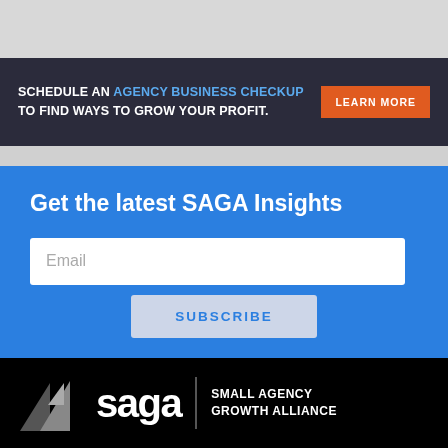[Figure (infographic): Gray top area of webpage screenshot]
SCHEDULE AN AGENCY BUSINESS CHECKUP TO FIND WAYS TO GROW YOUR PROFIT.
LEARN MORE
Get the latest SAGA Insights
Email
SUBSCRIBE
[Figure (logo): SAGA Small Agency Growth Alliance logo — triangle icon, saga wordmark, and full organization name on black background]